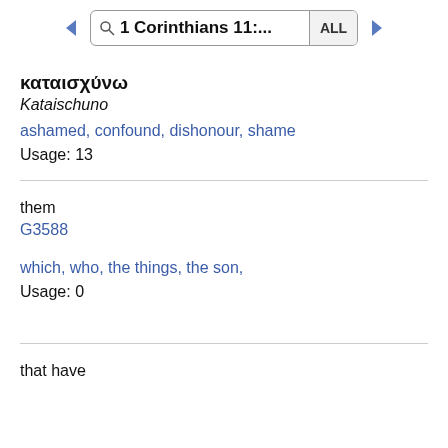1 Corinthians 11:... ALL
καταισχύνω
Kataischuno
ashamed, confound, dishonour, shame
Usage: 13
them
G3588
which, who, the things, the son,
Usage: 0
that have